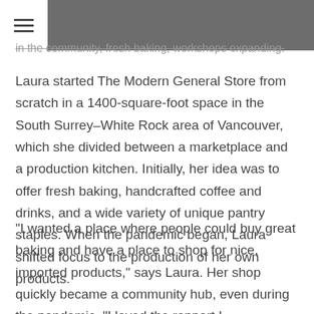≡
in the community, fresh baking, workshops expanding.
Laura started The Modern General Store from scratch in a 1400-square-foot space in the South Surrey–White Rock area of Vancouver, which she divided between a marketplace and a production kitchen. Initially, her idea was to offer fresh baking, handcrafted coffee and drinks, and a wide variety of unique pantry staples. When the pandemic began, Laura shifted focus to the production of her own products.
“I wanted a place where people could buy great baking and have a place to shop for nice, imported products,” says Laura. Her shop quickly became a community hub, even during the pandemic. “I loved the rapport I